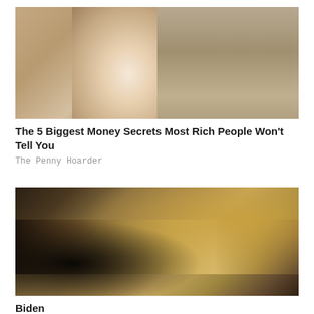[Figure (photo): Older elegant woman laughing, holding a mirror and lipstick, wearing pearls and fur, against a wood background]
The 5 Biggest Money Secrets Most Rich People Won't Tell You
The Penny Hoarder
[Figure (photo): Close-up of old dollar bills, sepia-toned, with numbers and text partially visible]
Biden
Biden 5...